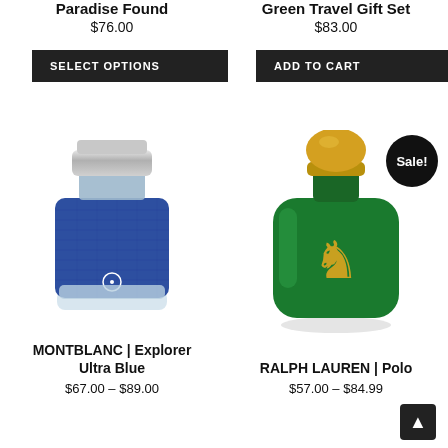Paradise Found
$76.00
Green Travel Gift Set
$83.00
SELECT OPTIONS
ADD TO CART
[Figure (photo): Montblanc Explorer Ultra Blue fragrance bottle - blue leather-textured rectangular bottle with silver cap]
[Figure (photo): Ralph Lauren Polo green cologne bottle - green rectangular bottle with gold polo player logo and round gold cap, with Sale! badge]
MONTBLANC | Explorer Ultra Blue
$67.00 – $89.00
RALPH LAUREN | Polo
$57.00 – $84.99